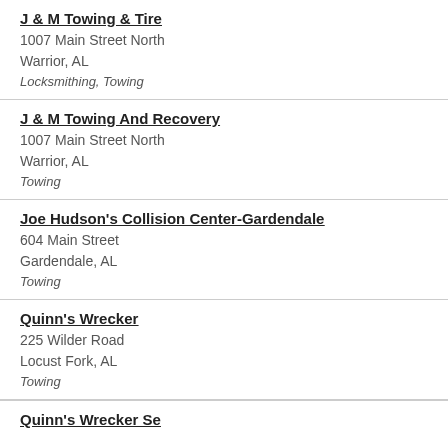J & M Towing & Tire
1007 Main Street North
Warrior, AL
Locksmithing, Towing
J & M Towing And Recovery
1007 Main Street North
Warrior, AL
Towing
Joe Hudson's Collision Center-Gardendale
604 Main Street
Gardendale, AL
Towing
Quinn's Wrecker
225 Wilder Road
Locust Fork, AL
Towing
Quinn's Wrecker Service (partial)